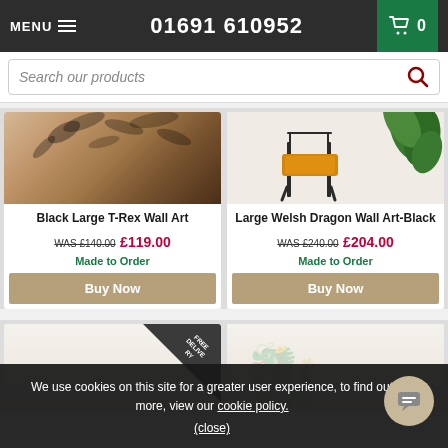MENU  01691 610952  0
Search our products
[Figure (photo): Product image for Black Large T-Rex Wall Art - brown textured wall with dark leaf/dinosaur motifs]
Black Large T-Rex Wall Art
WAS £140.00  £119.00
Made to Order
[Figure (photo): Product image for Large Welsh Dragon Wall Art-Black - chair with yellow cushion and green plant]
Large Welsh Dragon Wall Art-Black
WAS £240.00  £204.00
Made to Order
[Figure (photo): Partial product card with FREE DELIVERY badge, bottom row]
[Figure (photo): Partial product card, bottom row right, with dark dragon silhouette background]
We use cookies on this site for a greater user experience, to find out more, view our cookie policy.
(close)